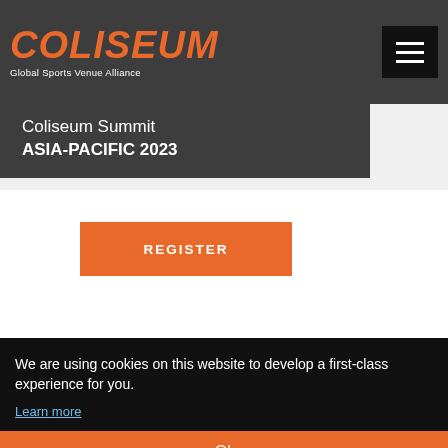COLISEUM Global Sports Venue Alliance
Coliseum Summit ASIA-PACIFIC 2023
REGISTER
ek
We are using cookies on this website to develop a first-class experience for you. Learn more
Ok